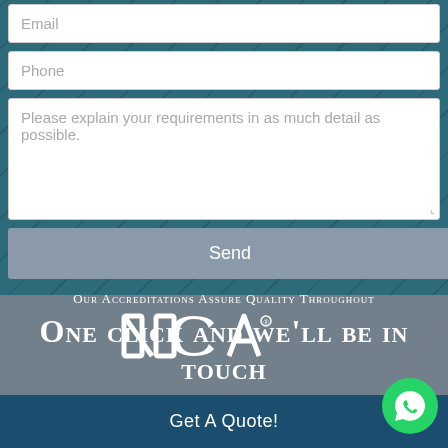Email
Phone
Please explain your requirements in as much detail as possible.
Send
Our Accreditations Assure Quality Throughout
[Figure (logo): NCCA logo partial view]
One click and we'll be in touch
Get A Quote!